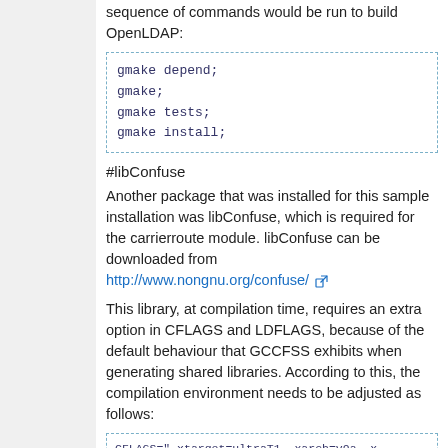sequence of commands would be run to build OpenLDAP:
gmake depend;
gmake;
gmake tests;
gmake install;
#libConfuse
Another package that was installed for this sample installation was libConfuse, which is required for the carrierroute module. libConfuse can be downloaded from http://www.nongnu.org/confuse/
This library, at compilation time, requires an extra option in CFLAGS and LDFLAGS, because of the default behaviour that GCCFSS exhibits when generating shared libraries. According to this, the compilation environment needs to be adjusted as follows:
CFLAGS="-xtarget=ultraT1 -xarch=v9a -x
LDFLAGS="-xtarget=ultraT1 -xarch=v9a -
CXXFLAGS="-xtarget=ultraT1 -xarch=v9a
PATH="/usr/sbin:/sbin:/usr/bin:/opt/gc